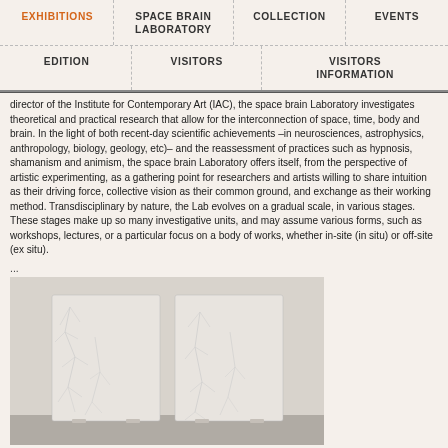EXHIBITIONS | SPACE BRAIN LABORATORY | COLLECTION | EVENTS
EDITION | VISITORS | VISITORS INFORMATION
director of the Institute for Contemporary Art (IAC), the space brain Laboratory investigates theoretical and practical research that allow for the interconnection of space, time, body and brain. In the light of both recent-day scientific achievements –in neurosciences, astrophysics, anthropology, biology, geology, etc)– and the reassessment of practices such as hypnosis, shamanism and animism, the space brain Laboratory offers itself, from the perspective of artistic experimenting, as a gathering point for researchers and artists willing to share intuition as their driving force, collective vision as their common ground, and exchange as their working method. Transdisciplinary by nature, the Lab evolves on a gradual scale, in various stages. These stages make up so many investigative units, and may assume various forms, such as workshops, lectures, or a particular focus on a body of works, whether in-site (in situ) or off-site (ex situ).
...
[Figure (photo): Two white rectangular sculptural panels with embossed plant/botanical relief designs, leaning against a wall on a grey floor.]